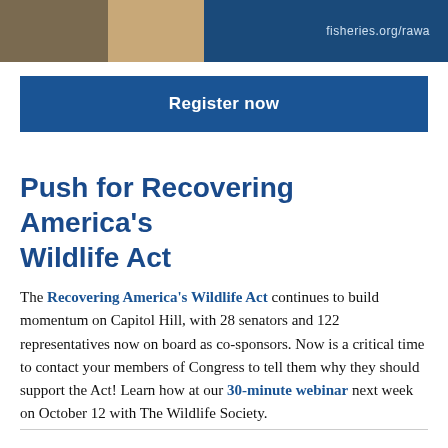[Figure (photo): Three-panel image header: left panel shows wildlife/nature photo (shells or fish), center panel shows another nature photo (vegetables or marine species), right dark blue panel shows text 'fisheries.org/rawa']
Register now
Push for Recovering America's Wildlife Act
The Recovering America's Wildlife Act continues to build momentum on Capitol Hill, with 28 senators and 122 representatives now on board as co-sponsors. Now is a critical time to contact your members of Congress to tell them why they should support the Act! Learn how at our 30-minute webinar next week on October 12 with The Wildlife Society.